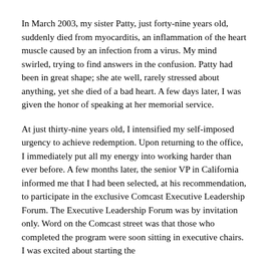In March 2003, my sister Patty, just forty-nine years old, suddenly died from myocarditis, an inflammation of the heart muscle caused by an infection from a virus. My mind swirled, trying to find answers in the confusion. Patty had been in great shape; she ate well, rarely stressed about anything, yet she died of a bad heart. A few days later, I was given the honor of speaking at her memorial service.
At just thirty-nine years old, I intensified my self-imposed urgency to achieve redemption. Upon returning to the office, I immediately put all my energy into working harder than ever before. A few months later, the senior VP in California informed me that I had been selected, at his recommendation, to participate in the exclusive Comcast Executive Leadership Forum. The Executive Leadership Forum was by invitation only. Word on the Comcast street was that those who completed the program were soon sitting in executive chairs. I was excited about starting the